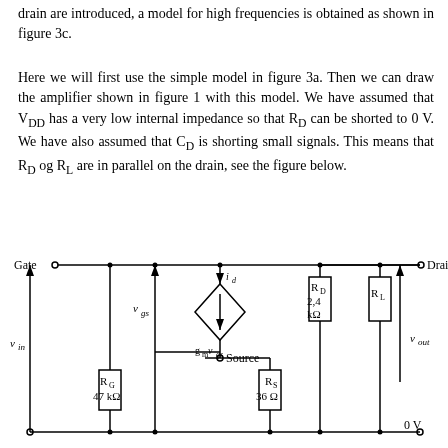drain are introduced, a model for high frequencies is obtained as shown in figure 3c.
Here we will first use the simple model in figure 3a. Then we can draw the amplifier shown in figure 1 with this model. We have assumed that V_DD has a very low internal impedance so that R_D can be shorted to 0 V. We have also assumed that C_D is shorting small signals. This means that R_D og R_L are in parallel on the drain, see the figure below.
[Figure (circuit-diagram): MOSFET small-signal amplifier circuit diagram showing Gate, Drain, Source terminals with components: R_G (47 kΩ), R_S (36 Ω), R_D (2.4 kΩ), R_L, dependent current source g_m*v_gs with current i_d, voltage v_gs, v_in, v_out, and 0V ground.]